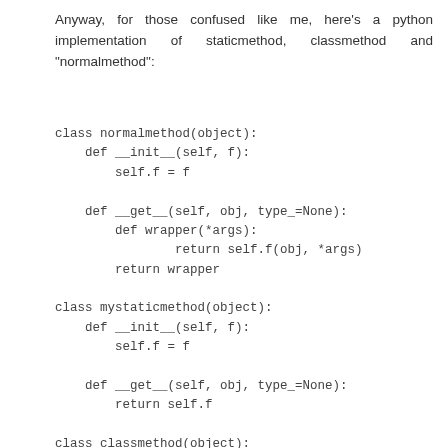Anyway, for those confused like me, here's a python implementation of staticmethod, classmethod and "normalmethod":
class normalmethod(object):
    def __init__(self, f):
        self.f = f

    def __get__(self, obj, type_=None):
        def wrapper(*args):
                return self.f(obj, *args)
        return wrapper

class mystaticmethod(object):
    def __init__(self, f):
        self.f = f

    def __get__(self, obj, type_=None):
        return self.f

class classmethod(object):
    def __init__(self, f):